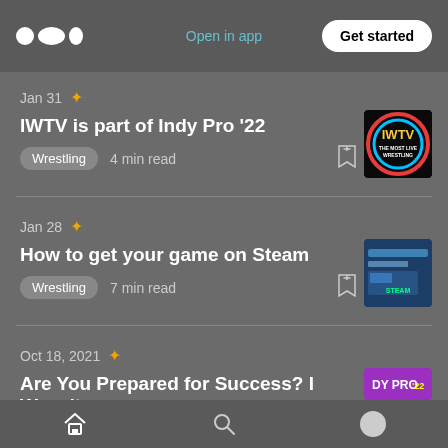Medium logo | Open in app | Get started
Jan 31 ✦ IWTV is part of Indy Pro '22 | Wrestling | 4 min read
Jan 28 ✦ How to get your game on Steam | Wrestling | 7 min read
Oct 18, 2021 ✦ Are You Prepared for Success? I Wasn't
Home | Search | Profile